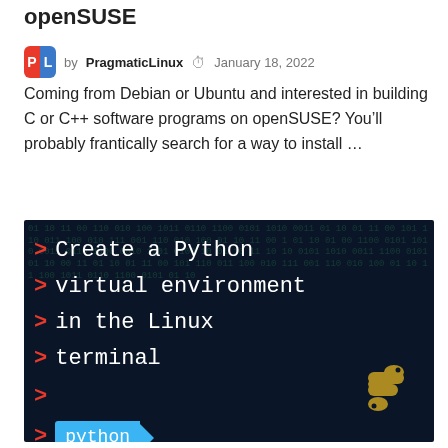openSUSE
by PragmaticLinux  January 18, 2022
Coming from Debian or Ubuntu and interested in building C or C++ software programs on openSUSE? You’ll probably frantically search for a way to install …
[Figure (screenshot): Dark terminal-themed banner image showing the text 'Create a Python virtual environment in the Linux terminal' in monospace white font with red chevrons on a dark matrix background, with a python badge and Python snake logo]